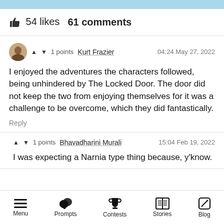[Figure (screenshot): Light blue top bar strip]
👍 54 likes   61 comments
▲ ▼ 1 points  Kurt Frazier   04:24 May 27, 2022
I enjoyed the adventures the characters followed, being unhindered by The Locked Door. The door did not keep the two from enjoying themselves for it was a challenge to be overcome, which they did fantastically.
Reply
▲ ▼ 1 points  Bhavadharini Murali   15:04 Feb 19, 2022
I was expecting a Narnia type thing because, y'know.
Menu   Prompts   Contests   Stories   Blog